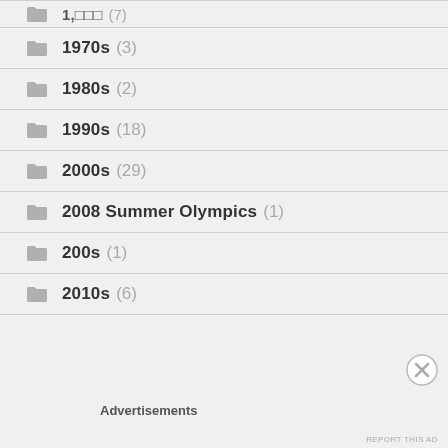1970s (3)
1980s (2)
1990s (18)
2000s (29)
2008 Summer Olympics (1)
200s (1)
2010s (6)
Advertisements